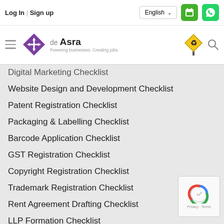Log In  |  Sign up   English   [phone] [whatsapp]
[Figure (logo): de Asra logo - purple diamond shape with navigation arrows icon, text 'de Asra Powering businesses. Creating jobs.' alongside road sign and search icons]
Digital Marketing Checklist
Website Design and Development Checklist
Patent Registration Checklist
Packaging & Labelling Checklist
Barcode Application Checklist
GST Registration Checklist
Copyright Registration Checklist
Trademark Registration Checklist
Rent Agreement Drafting Checklist
LLP Formation Checklist
Partnership Firm Formation Checklist
OPC Formation Checklist